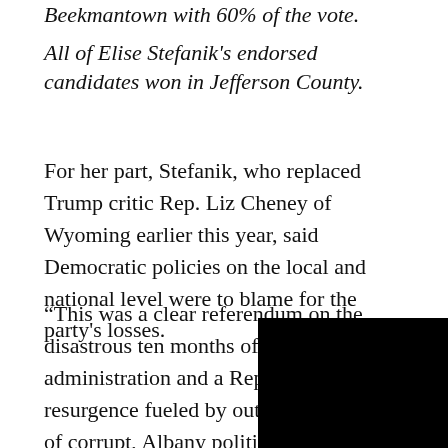Beekmantown with 60% of the vote.
All of Elise Stefanik's endorsed candidates won in Jefferson County.
For her part, Stefanik, who replaced Trump critic Rep. Liz Cheney of Wyoming earlier this year, said Democratic policies on the local and national level were to blame for the party's losses.
“This was a clear referendum on the disastrous ten months of Joe Biden’s administration and a Republican resurgence fueled by outrage after years of corrupt, Albany politicians destroying our state,” she noted.
[Figure (other): Black redaction box in bottom-right corner]